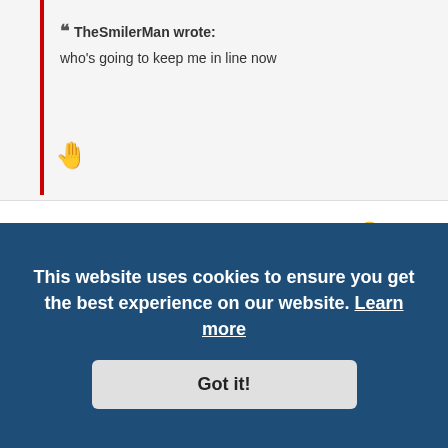" TheSmilerMan wrote: who's going to keep me in line now [wave emoji]
As always adz but you two always came in a pair 😉 you need a new buddy!
[Figure (illustration): Yellow and black swirling spiral pattern banner image]
This website uses cookies to ensure you get the best experience on our website. Learn more
Got it!